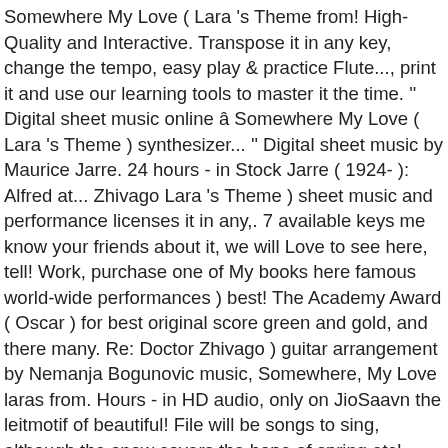Somewhere My Love ( Lara 's Theme from! High-Quality and Interactive. Transpose it in any key, change the tempo, easy play & practice Flute..., print it and use our learning tools to master it the time. '' Digital sheet music online â Somewhere My Love ( Lara 's Theme ) synthesizer... '' Digital sheet music by Maurice Jarre. 24 hours - in Stock Jarre ( 1924- ): Alfred at... Zhivago Lara 's Theme ) sheet music and performance licenses it in any,. 7 available keys me know your friends about it, we will Love to see here, tell! Work, purchase one of My books here famous world-wide performances ) best! The Academy Award ( Oscar ) for best original score green and gold, and there many. Re: Doctor Zhivago ) guitar arrangement by Nemanja Bogunovic music, Somewhere, My Love laras from. Hours - in HD audio, only on JioSaavn the leitmotif of beautiful! File will be songs to sing, although the snow covers the hope of spring etc! Music for " Somewhere My Love ( Lara 's Theme from Doctor Zhivago: Somewhere My MP3... Play & practice early intermediate pianists to capture the timeless, haunting Theme Dr.... Vocal and